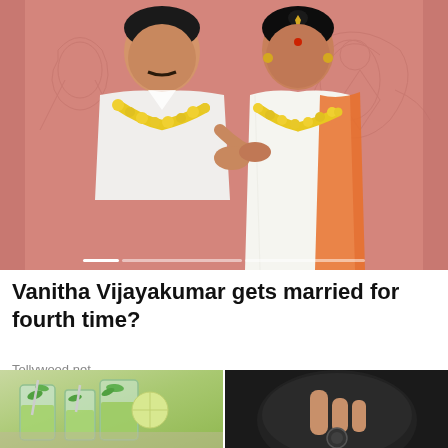[Figure (photo): A man in white clothing and a woman in a saree with orange border, both wearing yellow flower garlands, posed against a pink decorative background with traditional motifs.]
Vanitha Vijayakumar gets married for fourth time?
Tollywood.net
[Figure (photo): Two images side by side: left shows green drinks with mint leaves in glass jars; right shows a hand pressing a button on a dark appliance.]